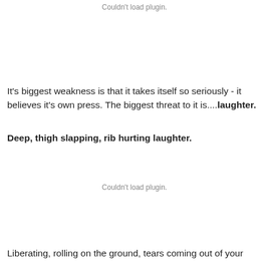Couldn't load plugin.
It's biggest weakness is that it takes itself so seriously - it believes it's own press. The biggest threat to it is....laughter.
Deep, thigh slapping, rib hurting laughter.
Couldn't load plugin.
Liberating, rolling on the ground, tears coming out of your